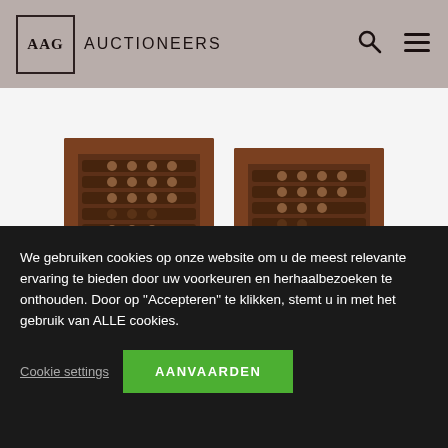[Figure (logo): AAG Auctioneers logo with bordered box and search/menu icons in header]
[Figure (photo): Two ornate dark wooden carved panels (abacus-like objects) on light grey background]
We gebruiken cookies op onze website om u de meest relevante ervaring te bieden door uw voorkeuren en herhaalbezoeken te onthouden. Door op "Accepteren" te klikken, stemt u in met het gebruik van ALLE cookies.
Cookie settings
AANVAARDEN